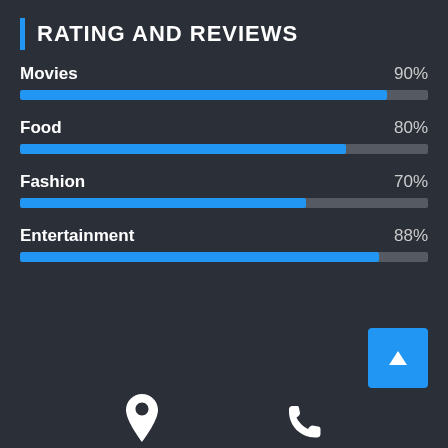RATING AND REVIEWS
[Figure (bar-chart): Rating and Reviews]
[Figure (other): Navigation icons: location pin and phone. Blue scroll-to-top button with upward arrow.]